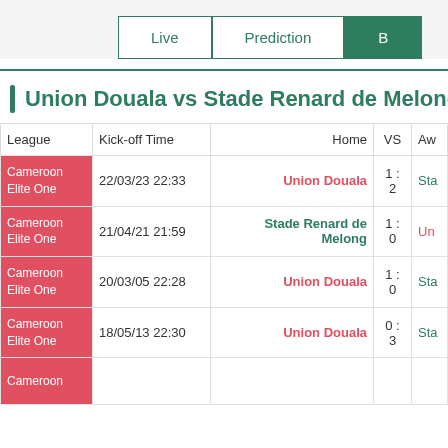Live | Prediction | B
Union Douala vs Stade Renard de Melong
| League | Kick-off Time | Home | VS | Aw |
| --- | --- | --- | --- | --- |
| Cameroon Elite One | 22/03/23 22:33 | Union Douala | 1 : 2 | Sta |
| Cameroon Elite One | 21/04/21 21:59 | Stade Renard de Melong | 1 : 0 | Un |
| Cameroon Elite One | 20/03/05 22:28 | Union Douala | 1 : 0 | Sta |
| Cameroon Elite One | 18/05/13 22:30 | Union Douala | 0 : 3 | Sta |
| Cameroon |  |  |  |  |